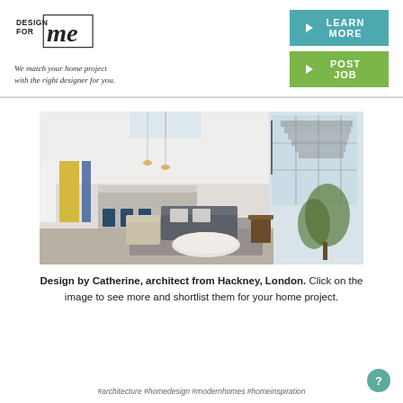[Figure (logo): DesignForMe logo with text DESIGN FOR me in a square border]
We match your home project with the right designer for you.
LEARN MORE
POST JOB
[Figure (photo): Modern open-plan living space with high ceilings, staircase, large windows, kitchen island, sofa and coffee table]
Design by Catherine, architect from Hackney, London. Click on the image to see more and shortlist them for your home project.
#architecture #homedesign #modernhomes #homeinspiration